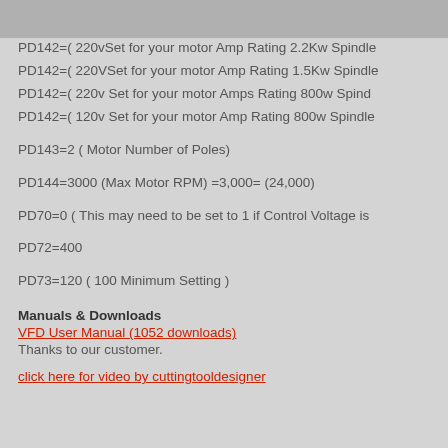PD142=( 220vSet for your motor Amp Rating 2.2Kw Spindle
PD142=( 220VSet for your motor Amp Rating 1.5Kw Spindle
PD142=( 220v Set for your motor Amps Rating 800w Spind
PD142=( 120v Set for your motor Amp Rating 800w Spindle
PD143=2 ( Motor Number of Poles)
PD144=3000 (Max Motor RPM) =3,000= (24,000)
PD70=0 ( This may need to be set to 1 if Control Voltage is
PD72=400
PD73=120 ( 100 Minimum Setting )
Manuals & Downloads
VFD User Manual (1052 downloads)
Thanks to our customer.
click here for video by cuttingtooldesigner